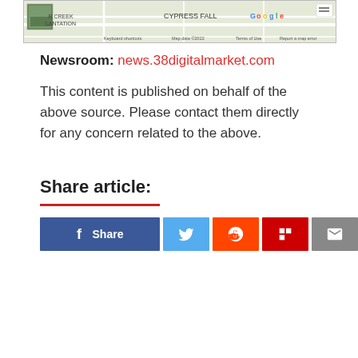[Figure (screenshot): Google Maps screenshot showing Cypress Falls area with street map view, thumbnail photo in top-left, and map attribution footer.]
Newsroom: news.38digitalmarket.com
This content is published on behalf of the above source. Please contact them directly for any concern related to the above.
Share article:
[Figure (infographic): Social media share buttons row: Facebook Share, Twitter, Reddit, Flipboard, Email]